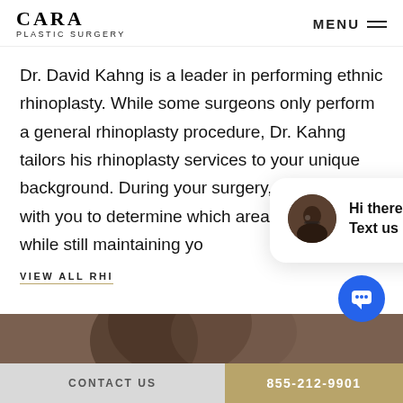CARA PLASTIC SURGERY
Dr. David Kahng is a leader in performing ethnic rhinoplasty. While some surgeons only perform a general rhinoplasty procedure, Dr. Kahng tailors his rhinoplasty services to your unique background. During your surgery, he can work with you to determine which areas to correct while still maintaining yo...
VIEW ALL RHI...
[Figure (screenshot): Chat popup with avatar photo, close button, and message 'Hi there, have a question? Text us here.']
[Figure (photo): Partial photo of a person, dark tones]
CONTACT US   855-212-9901